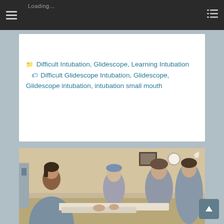Loading...
Difficult Intubation, Glidescope, Learning Intubation  Difficult Glidescope Intubation, Glidescope, Glidescope intubation, intubation small mouth
[Figure (photo): Medical scene showing healthcare workers in scrubs performing or observing an intubation procedure on a patient in a clinical setting]